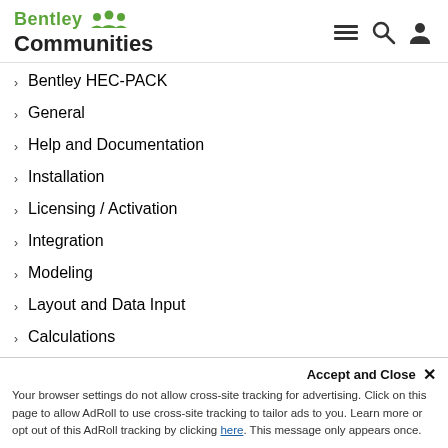Bentley Communities
Bentley HEC-PACK
General
Help and Documentation
Installation
Licensing / Activation
Integration
Modeling
Layout and Data Input
Calculations
Output and Reporting
"External Component has thrown an exception" and "sharing lock count exceeded..." after a Modelbuilder Update in ArcGIS
AutoCAD "plot in background" doesn't show the correct pipe color and weight thickness
Calculated results in ProjectWise
Can the color of the label be changed without cha...
Accept and Close ×
Your browser settings do not allow cross-site tracking for advertising. Click on this page to allow AdRoll to use cross-site tracking to tailor ads to you. Learn more or opt out of this AdRoll tracking by clicking here. This message only appears once.